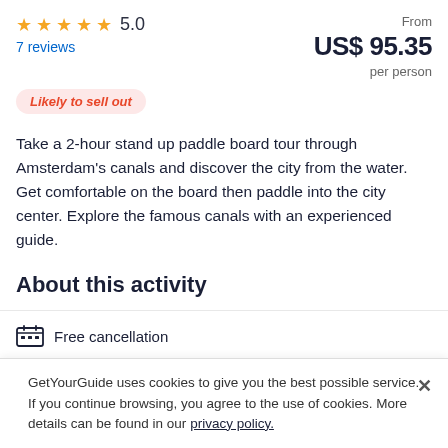★★★★★ 5.0
7 reviews
From US$ 95.35 per person
Likely to sell out
Take a 2-hour stand up paddle board tour through Amsterdam's canals and discover the city from the water. Get comfortable on the board then paddle into the city center. Explore the famous canals with an experienced guide.
About this activity
Free cancellation
GetYourGuide uses cookies to give you the best possible service. If you continue browsing, you agree to the use of cookies. More details can be found in our privacy policy.